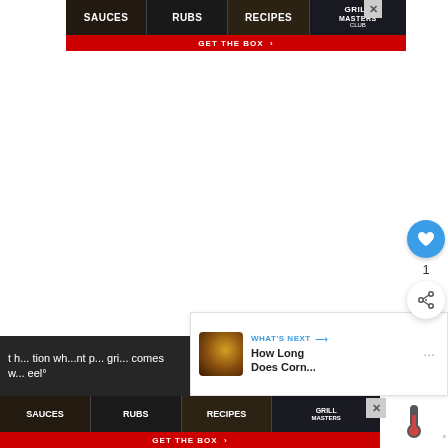[Figure (screenshot): Top advertisement banner for Grill Masters Club showing sections: SAUCES, RUBS, RECIPES, GRILL MASTERS with a red GET THE BOX call-to-action bar and close button]
[Figure (screenshot): White content area of webpage with like button (heart icon, blue circle), count of 1, share button, and What's Next card showing 'How Long Does Corn...' with corn image thumbnail]
comes w... eel°
[Figure (screenshot): Bottom advertisement banner for Grill Masters Club showing sections: SAUCES, RUBS, RECIPES, GRILL MASTERS with a red GET THE BOX call-to-action bar and close button]